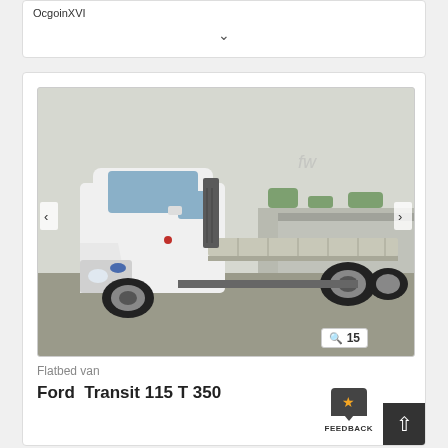OcgoinXVI
[Figure (photo): White Ford Transit 115 T 350 flatbed van photographed outdoors in a parking area, side/front view showing the flatbed platform]
Flatbed van
Ford  Transit 115 T 350